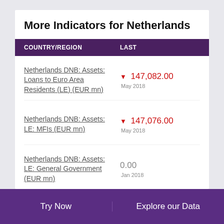More Indicators for Netherlands
| COUNTRY/REGION | LAST |
| --- | --- |
| Netherlands DNB: Assets: Loans to Euro Area Residents (LE) (EUR mn) | ▼ 147,082.00
May 2018 |
| Netherlands DNB: Assets: LE: MFIs (EUR mn) | ▼ 147,076.00
May 2018 |
| Netherlands DNB: Assets: LE: General Government (EUR mn) | 0.00
Jan 2018 |
Try Now | Explore our Data